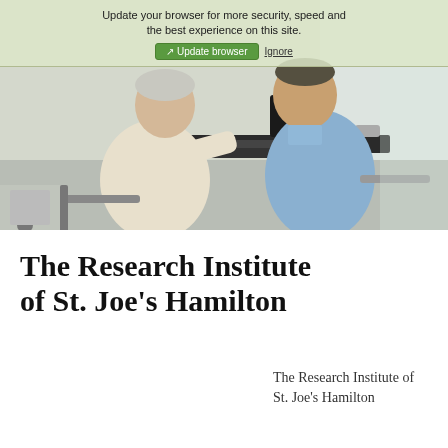[Figure (photo): A photograph showing two people (an elderly patient and a healthcare professional in a blue shirt) seated at a computer workstation. There is a browser update notification overlay at the top of the image reading 'Update your browser for more security, speed and the best experience on this site.' with 'Update browser' and 'Ignore' buttons.]
The Research Institute of St. Joe's Hamilton
The Research Institute of St. Joe's Hamilton